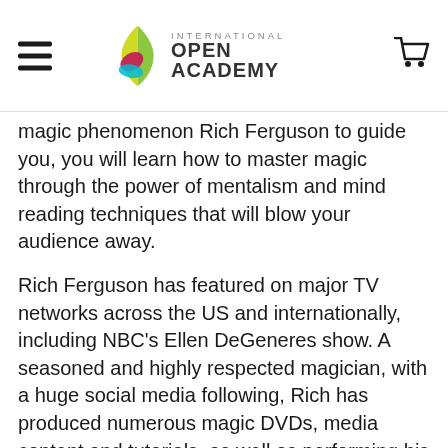International Open Academy
magic phenomenon Rich Ferguson to guide you, you will learn how to master magic through the power of mentalism and mind reading techniques that will blow your audience away.
Rich Ferguson has featured on major TV networks across the US and internationally, including NBC's Ellen DeGeneres show. A seasoned and highly respected magician, with a huge social media following, Rich has produced numerous magic DVDs, media content and tutorials, as well as performing his tricks for some of the world's A-list celebrities and corporations.
These are tricks that you can pull out of the hat anywhere, anytime and at any occasion to astound